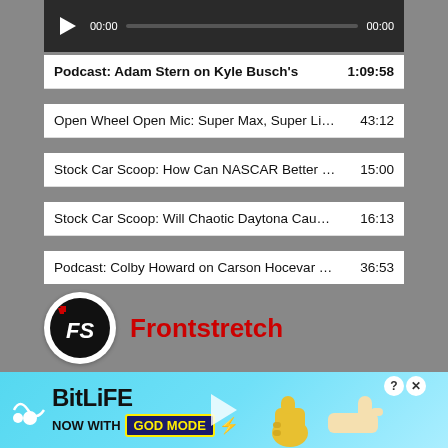[Figure (screenshot): Audio player bar with play button, time display 00:00 and 00:00, and progress bar on dark background]
Podcast: Adam Stern on Kyle Busch's  1:09:58
Open Wheel Open Mic: Super Max, Super Li...  43:12
Stock Car Scoop: How Can NASCAR Better ...  15:00
Stock Car Scoop: Will Chaotic Daytona Cau...  16:13
Podcast: Colby Howard on Carson Hocevar ...  36:53
[Figure (logo): Frontstretch logo - circular black badge with FS text in white italic, accompanied by red Frontstretch text]
[Figure (screenshot): Frontstretch video thumbnail showing a person's face in dark environment with FRONTSTRETCH watermark and play button overlay]
[Figure (screenshot): BitLife advertisement banner - NOW WITH GOD MODE on light blue gradient background with thumbs up and pointing hand graphics]